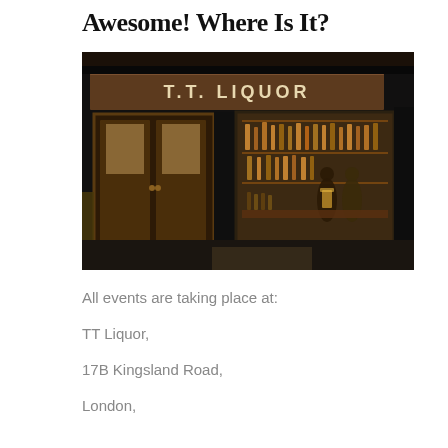Awesome! Where Is It?
[Figure (photo): Exterior nighttime photo of T.T. Liquor bar/shop front on a dark street, showing illuminated signage reading T.T. LIQUOR above the facade, wooden double doors on the left, a large lit display window on the right showing bottles on shelves and people inside.]
All events are taking place at:
TT Liquor,
17B Kingsland Road,
London,